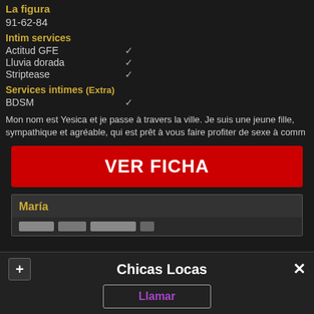La figura
91-62-84
Intim services
Actitud GFE ✓
Lluvia dorada ✓
Striptease ✓
Services intimes (Extra)
BDSM ✓
Mon nom est Yesica et je passe à travers la ville. Je suis une jeune fille, sympathique et agréable, qui est prêt à vous faire profiter de sexe à comm
VER FICHA
María
Chicas Locas
Llamar